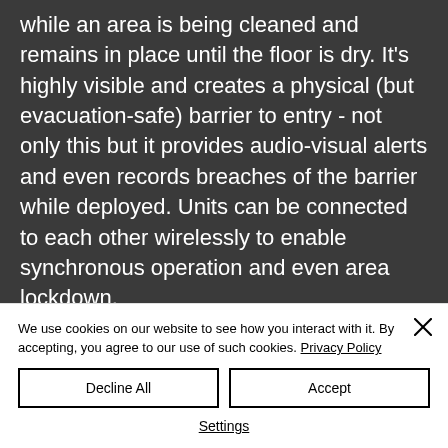while an area is being cleaned and remains in place until the floor is dry. It's highly visible and creates a physical (but evacuation-safe) barrier to entry - not only this but it provides audio-visual alerts and even records breaches of the barrier while deployed. Units can be connected to each other wirelessly to enable synchronous operation and even area lockdown.
We use cookies on our website to see how you interact with it. By accepting, you agree to our use of such cookies. Privacy Policy
Decline All
Accept
Settings